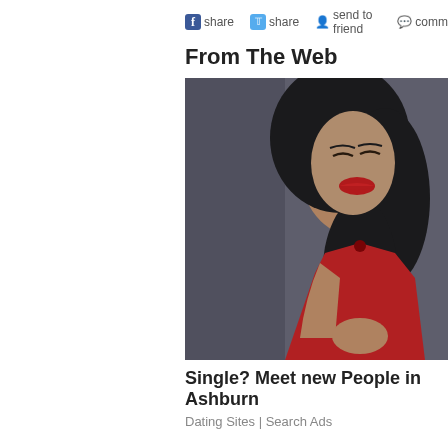f share  share  send to friend  comm
From The Web
[Figure (photo): Woman with dark hair and red lipstick wearing a red dress, posing with eyes closed]
Single? Meet new People in Ashburn
Dating Sites | Search Ads